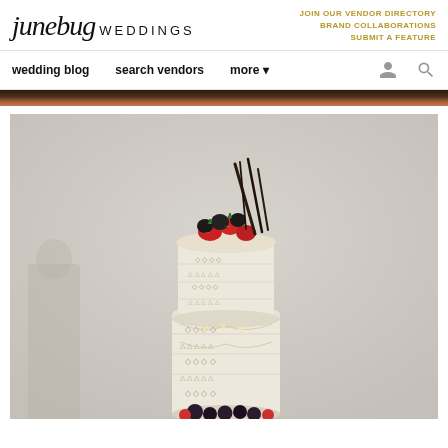junebug WEDDINGS
JOIN OUR VENDOR DIRECTORY
BRAND COLLABORATIONS
SUBMIT A FEATURE
wedding blog    search vendors    more
[Figure (photo): A decorated naked wedding cake topped with fresh strawberries and blackberries and dark chocolate sticks, with geometric/aztec pattern decorations around the sides and berries at the base, photographed against a light grey background.]